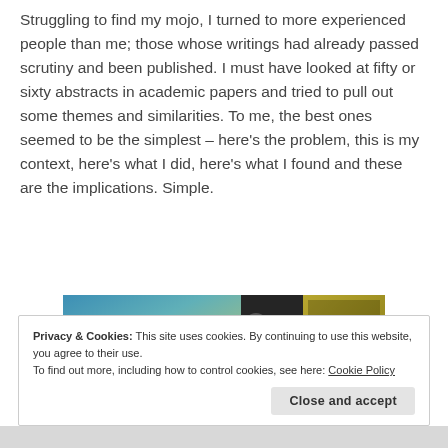Struggling to find my mojo, I turned to more experienced people than me; those whose writings had already passed scrutiny and been published. I must have looked at fifty or sixty abstracts in academic papers and tried to pull out some themes and similarities. To me, the best ones seemed to be the simplest – here's the problem, this is my context, here's what I did, here's what I found and these are the implications. Simple.
[Figure (screenshot): Partial screenshot showing a gradient image (blue-green-yellow tones) on the left side and a dark overlay with a toolbar/app icon on the right side.]
Privacy & Cookies: This site uses cookies. By continuing to use this website, you agree to their use.
To find out more, including how to control cookies, see here: Cookie Policy